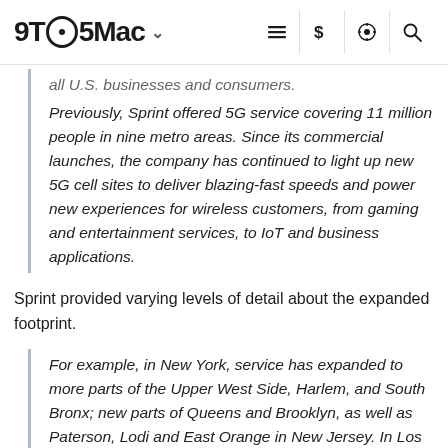9TO5Mac
all U.S. businesses and consumers.
Previously, Sprint offered 5G service covering 11 million people in nine metro areas. Since its commercial launches, the company has continued to light up new 5G cell sites to deliver blazing-fast speeds and power new experiences for wireless customers, from gaming and entertainment services, to IoT and business applications.
Sprint provided varying levels of detail about the expanded footprint.
For example, in New York, service has expanded to more parts of the Upper West Side, Harlem, and South Bronx; new parts of Queens and Brooklyn, as well as Paterson, Lodi and East Orange in New Jersey. In Los Angeles, 5G is now available in